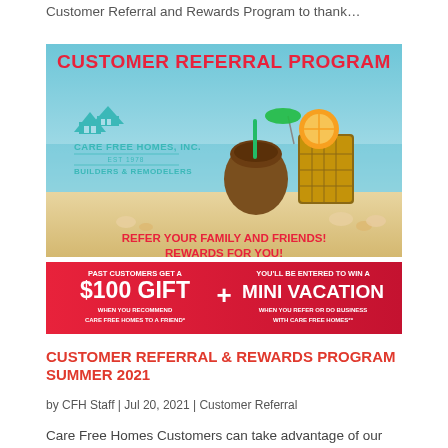Customer Referral and Rewards Program to thank…
[Figure (illustration): Care Free Homes Inc. Customer Referral Program promotional banner with beach/tropical theme. Shows logo, tropical drinks, text: CUSTOMER REFERRAL PROGRAM, REFER YOUR FAMILY AND FRIENDS! REWARDS FOR YOU!, PAST CUSTOMERS GET A $100 GIFT WHEN YOU RECOMMEND CARE FREE HOMES TO A FRIEND + YOU'LL BE ENTERED TO WIN A MINI VACATION WHEN YOU REFER OR DO BUSINESS WITH CARE FREE HOMES]
CUSTOMER REFERRAL & REWARDS PROGRAM SUMMER 2021
by CFH Staff | Jul 20, 2021 | Customer Referral
Care Free Homes Customers can take advantage of our